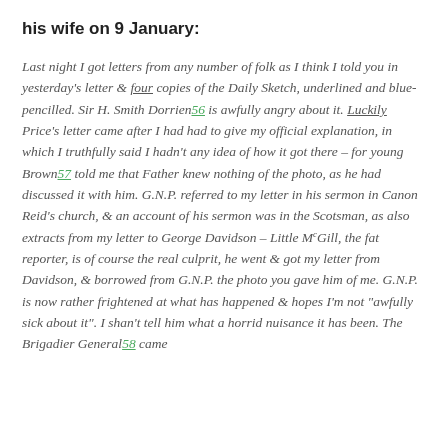his wife on 9 January:
Last night I got letters from any number of folk as I think I told you in yesterday's letter & four copies of the Daily Sketch, underlined and blue-pencilled. Sir H. Smith Dorrien56 is awfully angry about it. Luckily Price's letter came after I had had to give my official explanation, in which I truthfully said I hadn't any idea of how it got there – for young Brown57 told me that Father knew nothing of the photo, as he had discussed it with him. G.N.P. referred to my letter in his sermon in Canon Reid's church, & an account of his sermon was in the Scotsman, as also extracts from my letter to George Davidson – Little McGill, the fat reporter, is of course the real culprit, he went & got my letter from Davidson, & borrowed from G.N.P. the photo you gave him of me. G.N.P. is now rather frightened at what has happened & hopes I'm not "awfully sick about it". I shan't tell him what a horrid nuisance it has been. The Brigadier General58 came